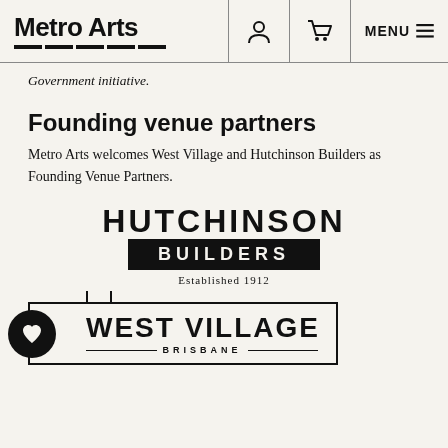Metro Arts | navigation with user icon, cart icon, and MENU
Government initiative.
Founding venue partners
Metro Arts welcomes West Village and Hutchinson Builders as Founding Venue Partners.
[Figure (logo): Hutchinson Builders logo — HUTCHINSON in large bold text above a black bar with BUILDERS in white, and 'Established 1912' below]
[Figure (logo): West Village Brisbane logo — bordered rectangle with notch at top, circle with heart icon on left, WEST VILLAGE in large bold text, BRISBANE below with lines]